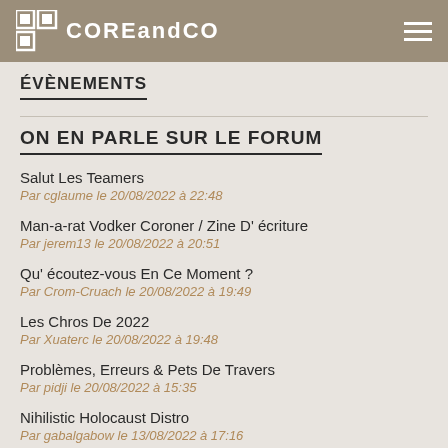COREandCO
ÉVÈNEMENTS
ON EN PARLE SUR LE FORUM
Salut Les Teamers
Par cglaume le 20/08/2022 à 22:48
Man-a-rat Vodker Coroner / Zine D' écriture
Par jerem13 le 20/08/2022 à 20:51
Qu' écoutez-vous En Ce Moment ?
Par Crom-Cruach le 20/08/2022 à 19:49
Les Chros De 2022
Par Xuaterc le 20/08/2022 à 19:48
Problèmes, Erreurs & Pets De Travers
Par pidji le 20/08/2022 à 15:35
Nihilistic Holocaust Distro
Par gabalgabow le 13/08/2022 à 17:16
Recherche De Bénévoles Pour Stage Et Mission Humanitaire En Afrique